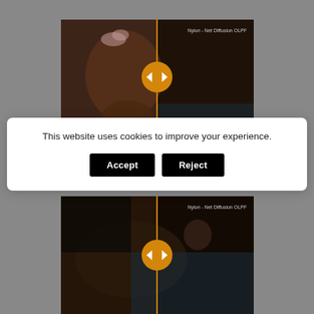[Figure (screenshot): Screenshot of a photo comparison slider showing a woman with a flower in her hair, labeled 'Nylon - Net Diffusion OLPF' with an orange divider and circular arrow icon in the center]
[Figure (screenshot): Cookie consent banner with text 'This website uses cookies to improve your experience.' and two buttons: Accept and Reject]
[Figure (screenshot): Screenshot of a photo comparison slider showing a woman reclining, labeled 'Nylon - Net Diffusion OLPF' with an orange divider and circular arrow icon in the center]